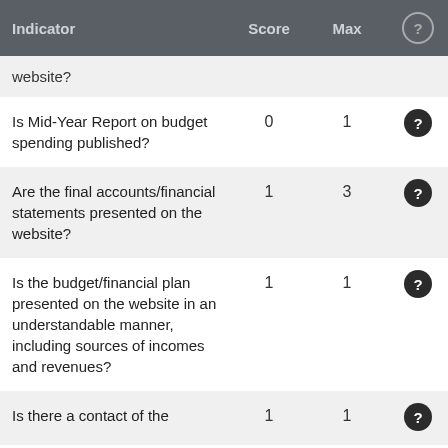| Indicator | Score | Max | ? |
| --- | --- | --- | --- |
| website? |  |  |  |
| Is Mid-Year Report on budget spending published? | 0 | 1 | ? |
| Are the final accounts/financial statements presented on the website? | 1 | 3 | ? |
| Is the budget/financial plan presented on the website in an understandable manner, including sources of incomes and revenues? | 1 | 1 | ? |
| Is there a contact of the | 1 | 1 | ? |